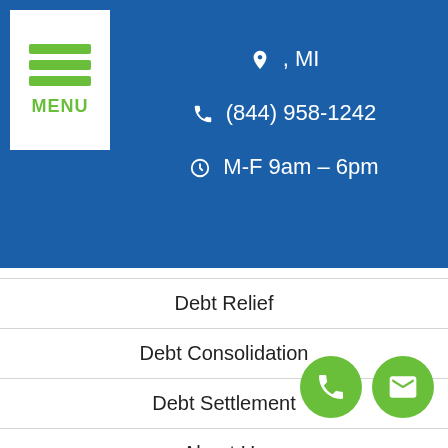, MI | (844) 958-1242 | M-F 9am – 6pm
Debt Relief
Debt Consolidation
Debt Settlement
About Us
Reviews & Testimonials
Debt Relief Locations
Debt Settlement Locations
Debt Reduction Locations
Debt Management Locations